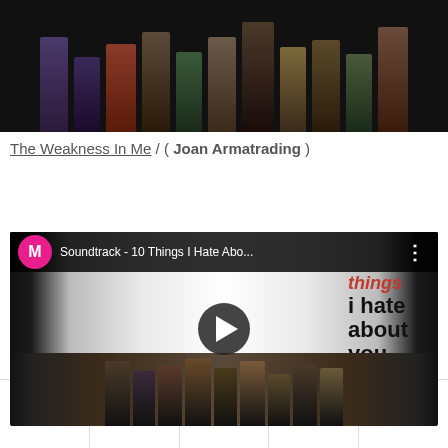[Figure (photo): Top portion of a YouTube video thumbnail showing the cast of '10 Things I Hate About You', partially cropped at top]
The Weakness In Me / ( Joan Armatrading )
[Figure (screenshot): YouTube video embed showing '10 Things I Hate About You' soundtrack video, with pink M avatar, title 'Soundtrack - 10 Things I Hate Abo...', three-dot menu, play button overlay, and cast photo]
like // The Soundtrack
[Figure (other): Mobile browser navigation bar with home, search, grid, moon (dark mode), and eject/up icons]